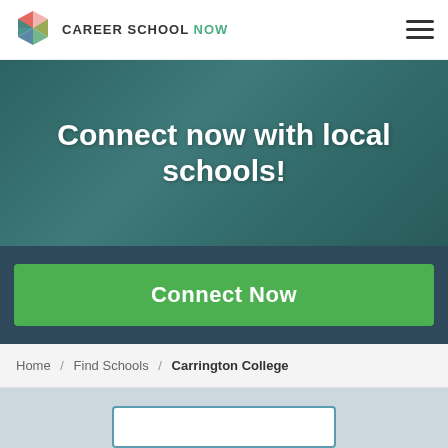[Figure (logo): Career School Now hexagon logo with colorful facets]
CAREER SCHOOL NOW
Connect now with local schools!
Connect Now
Home / Find Schools / Carrington College